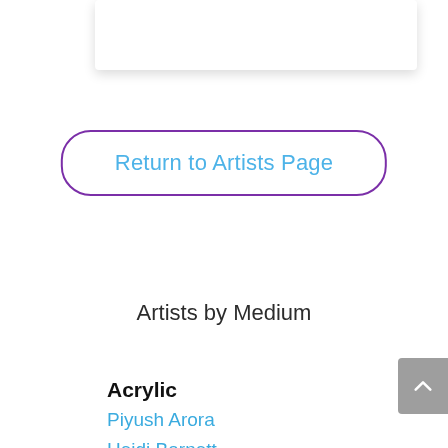[Figure (other): A white card/box element partially visible at the top of the page]
Return to Artists Page
Artists by Medium
Acrylic
Piyush Arora
Heidi Barnett
Hilda Bordianu
Geraldine Le Calvez
John Cannon
Ginger Carter